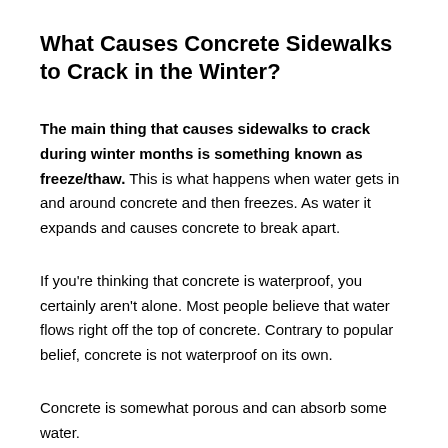What Causes Concrete Sidewalks to Crack in the Winter?
The main thing that causes sidewalks to crack during winter months is something known as freeze/thaw. This is what happens when water gets in and around concrete and then freezes. As water it expands and causes concrete to break apart.
If you're thinking that concrete is waterproof, you certainly aren't alone. Most people believe that water flows right off the top of concrete. Contrary to popular belief, concrete is not waterproof on its own.
Concrete is somewhat porous and can absorb some water.